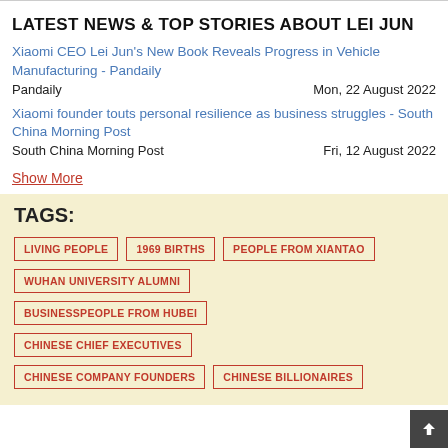LATEST NEWS & TOP STORIES ABOUT LEI JUN
Xiaomi CEO Lei Jun's New Book Reveals Progress in Vehicle Manufacturing - Pandaily
Pandaily   Mon, 22 August 2022
Xiaomi founder touts personal resilience as business struggles - South China Morning Post
South China Morning Post   Fri, 12 August 2022
Show More
TAGS:
LIVING PEOPLE
1969 BIRTHS
PEOPLE FROM XIANTAO
WUHAN UNIVERSITY ALUMNI
BUSINESSPEOPLE FROM HUBEI
CHINESE CHIEF EXECUTIVES
CHINESE COMPANY FOUNDERS
CHINESE BILLIONAIRES